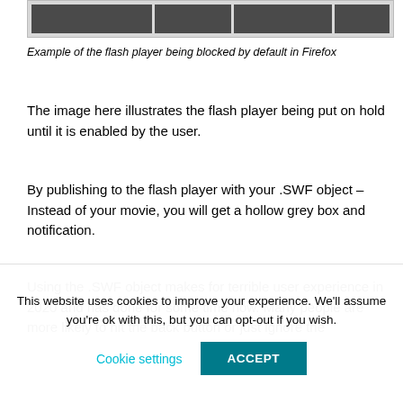[Figure (screenshot): Screenshot of a browser showing flash player blocked UI with grey blocks across the top]
Example of the flash player being blocked by default in Firefox
The image here illustrates the flash player being put on hold until it is enabled by the user.
By publishing to the flash player with your .SWF object – Instead of your movie, you will get a hollow grey box and notification.
Using the .SWF object makes for terrible user experience in 2020 and has done for some time now. Many people are more likely to hit the back button or just ignore the
This website uses cookies to improve your experience. We'll assume you're ok with this, but you can opt-out if you wish.